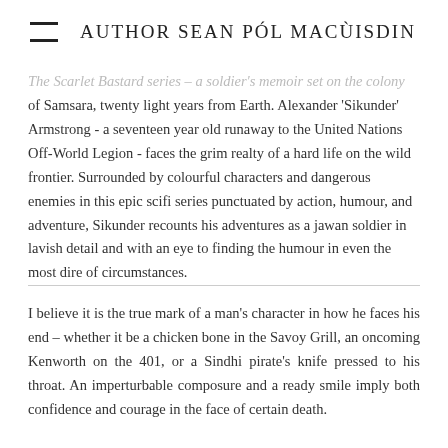AUTHOR SEAN PÓL MACÙISDIN
The Scarlet Bastard series – a soldier's memoir set on the colony of Samsara, twenty light years from Earth. Alexander 'Sikunder' Armstrong - a seventeen year old runaway to the United Nations Off-World Legion - faces the grim realty of a hard life on the wild frontier. Surrounded by colourful characters and dangerous enemies in this epic scifi series punctuated by action, humour, and adventure, Sikunder recounts his adventures as a jawan soldier in lavish detail and with an eye to finding the humour in even the most dire of circumstances.
I believe it is the true mark of a man's character in how he faces his end – whether it be a chicken bone in the Savoy Grill, an oncoming Kenworth on the 401, or a Sindhi pirate's knife pressed to his throat. An imperturbable composure and a ready smile imply both confidence and courage in the face of certain death.